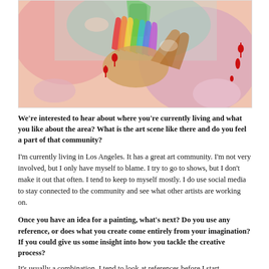[Figure (illustration): Colorful surrealist painting showing intertwined hands with rainbow-colored fingers, dripping red paint drops, vibrant pink, green, teal, and warm tones]
We're interested to hear about where you're currently living and what you like about the area? What is the art scene like there and do you feel a part of that community?
I'm currently living in Los Angeles. It has a great art community. I'm not very involved, but I only have myself to blame. I try to go to shows, but I don't make it out that often. I tend to keep to myself mostly. I do use social media to stay connected to the community and see what other artists are working on.
Once you have an idea for a painting, what's next? Do you use any reference, or does what you create come entirely from your imagination? If you could give us some insight into how you tackle the creative process?
It's usually a combination. I tend to look at references before I start